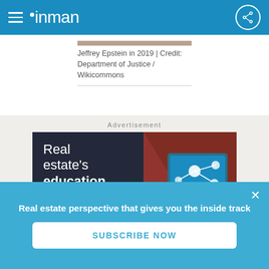inman
Jeffrey Epstein in 2019 | Credit: Department of Justice / Wikicommons
Advertisement
[Figure (infographic): Advertisement banner for Inman real estate education platform. Shows text 'Real estate's education destination' on dark background with image of tablet showing network/education interface on the right.]
Real estate perspective that gives you the inside track
SUBSCRIBE NOW